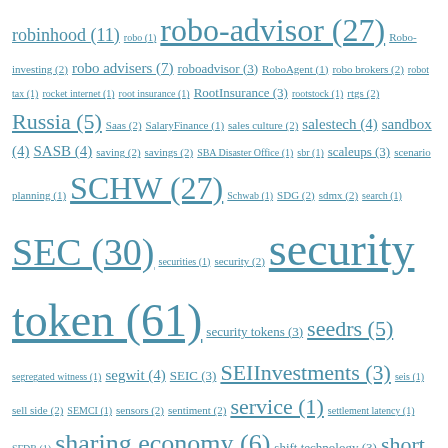robinhood (11) robo (1) robo-advisor (27) Robo-investing (2) robo advisers (7) roboadvisor (3) RoboAgent (1) robo brokers (2) robot tax (1) rocket internet (1) root insurance (1) RootInsurance (3) rootstock (1) rtgs (2) Russia (5) Saas (2) SalaryFinance (1) sales culture (2) salestech (4) sandbox (4) SASB (4) saving (2) savings (2) SBA Disaster Office (1) sbr (1) scaleups (3) scenario planning (1) SCHW (27) Schwab (1) SDG (2) sdmx (2) search (1) SEC (30) securities (1) security (2) security token (61) security tokens (3) seedrs (5) segregated witness (1) segwit (4) SEIC (3) SEIInvestments (3) seis (1) sell side (2) SEMCI (1) sensors (2) sentiment (2) service (1) settlement latency (1) SFDR (1) sharing economy (6) shift technology (3) short (5) sibos (18) sidechains (4) silicon valley (4) silvergate (13) simplesurance (4) singapore (16) six (1) skunkworks (1) skype (1) Slice (1) small banks (3) SmallBiz fintech (1) small business (4) small business banking (1) Small Business